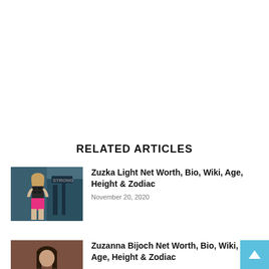RELATED ARTICLES
[Figure (photo): Thumbnail photo of Zuzka Light, a fit woman with long blonde hair in a gym wearing a sports bra and pink shorts]
Zuzka Light Net Worth, Bio, Wiki, Age, Height & Zodiac
November 20, 2020
[Figure (photo): Thumbnail photo of Zuzanna Bijoch, a woman with dark hair]
Zuzanna Bijoch Net Worth, Bio, Wiki, Age, Height & Zodiac